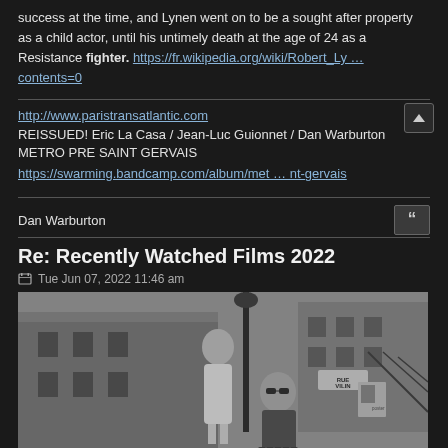success at the time, and Lynen went on to be a sought after property as a child actor, until his untimely death at the age of 24 as a Resistance fighter. https://fr.wikipedia.org/wiki/Robert_Ly … contents=0
http://www.paristransatlantic.com
REISSUED! Eric La Casa / Jean-Luc Guionnet / Dan Warburton METRO PRE SAINT GERVAIS
https://swarming.bandcamp.com/album/met … nt-gervais
Dan Warburton
Re: Recently Watched Films 2022
Tue Jun 07, 2022 11:46 am
[Figure (photo): Black and white photograph showing two people outdoors near a building and street lamp. A woman stands in the background wearing a light dress, and a man in sunglasses sits in the foreground with an accordion. A street sign reads 'RUE VILIN'.]